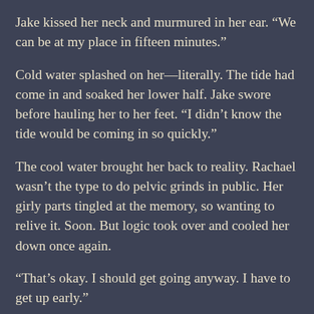Jake kissed her neck and murmured in her ear. “We can be at my place in fifteen minutes.”
Cold water splashed on her—literally. The tide had come in and soaked her lower half. Jake swore before hauling her to her feet. “I didn’t know the tide would be coming in so quickly.”
The cool water brought her back to reality. Rachael wasn’t the type to do pelvic grinds in public. Her girly parts tingled at the memory, so wanting to relive it. Soon. But logic took over and cooled her down once again.
“That’s okay. I should get going anyway. I have to get up early.”
Jake nodded in defeat and took her hand in his. Their walk back to the parking lot was too short. He’d occasionally bump shoulders with her and she’d knock him back, trying to throw him off balance. Once Jake knocked her too hard and she nearly toppled, but he caught her before she could fall. Not that she would have minded him falling on top of her.